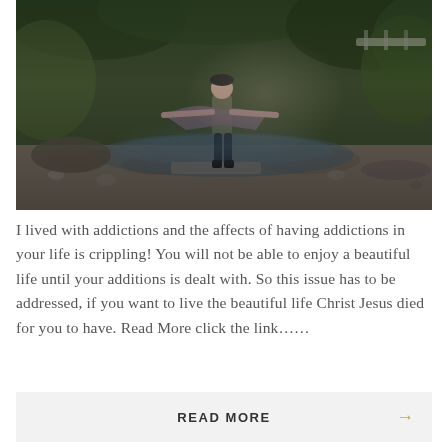[Figure (photo): A woman standing joyfully with arms outstretched in a rocky creek or riverbed, surrounded by trees and greenery. She is wearing a colorful striped poncho and dark pants with boots.]
I lived with addictions and the affects of having addictions in your life is crippling! You will not be able to enjoy a beautiful life until your additions is dealt with. So this issue has to be addressed, if you want to live the beautiful life Christ Jesus died for you to have. Read More click the link......
READ MORE →